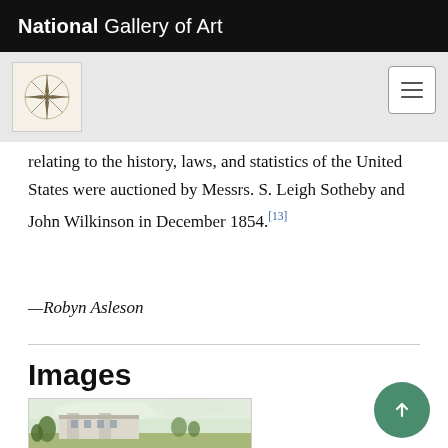National Gallery of Art
relating to the history, laws, and statistics of the United States were auctioned by Messrs. S. Leigh Sotheby and John Wilkinson in December 1854.[13]
—Robyn Asleson
Images
[Figure (photo): Painting/illustration of a large estate or mansion with grounds, depicted in a landscape watercolor style.]